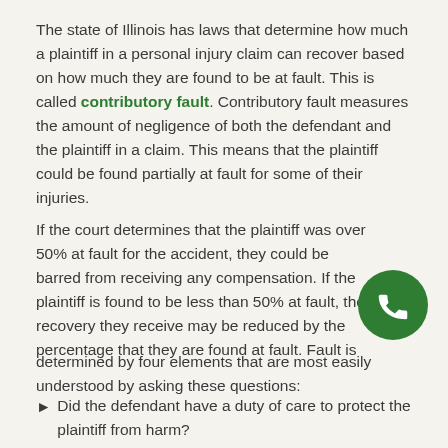The state of Illinois has laws that determine how much a plaintiff in a personal injury claim can recover based on how much they are found to be at fault. This is called contributory fault. Contributory fault measures the amount of negligence of both the defendant and the plaintiff in a claim. This means that the plaintiff could be found partially at fault for some of their injuries.
If the court determines that the plaintiff was over 50% at fault for the accident, they could be barred from receiving any compensation. If the plaintiff is found to be less than 50% at fault, the recovery they receive may be reduced by the percentage that they are found at fault. Fault is determined by four elements that are most easily understood by asking these questions:
Did the defendant have a duty of care to protect the plaintiff from harm?